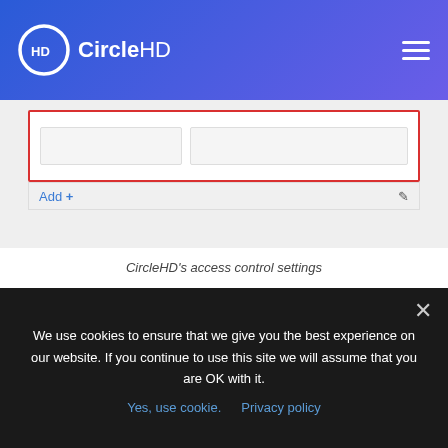CircleHD
[Figure (screenshot): CircleHD access control settings panel showing input fields with a red border outline, an 'Add +' button and edit icon]
CircleHD's access control settings
Interestingly, in Stream, there is no feature to securely share videos and other content with third parties like partners and customers, something CircleHD is able to do without sacrificing security.
Content Discovery
We use cookies to ensure that we give you the best experience on our website. If you continue to use this site we will assume that you are OK with it.
Yes, use cookie.   Privacy policy